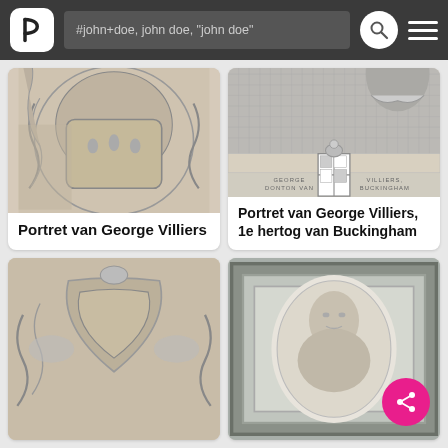#john+doe, john doe, "john doe"
[Figure (illustration): Engraving of ornate baroque cartouche with figures, Portret van George Villiers]
Portret van George Villiers
[Figure (illustration): Engraving showing heraldic coat of arms with shield and helmet crest relating to George Villiers Duke of Buckingham]
Portret van George Villiers, 1e hertog van Buckingham
[Figure (illustration): Partial view of decorative engraving with coat of arms, bottom-left card]
[Figure (illustration): Partial view of portrait in ornate frame, bottom-right card]